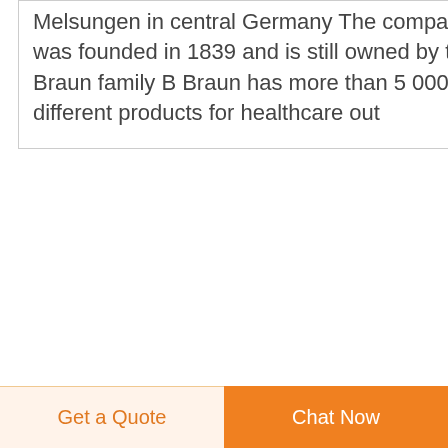Melsungen in central Germany The company was founded in 1839 and is still owned by the Braun family B Braun has more than 5 000 different products for healthcare out
[Figure (photo): Thumbnail image showing a medical IV bag or pump device with a blue tint]
B Braun Sharing Expertise
Inserting a Spaceplus pump into the Spaceplus Station B Braun Group 28 days ago To release the pump lock press the locking button on the left side of the top pump and slide
Get a Quote
Chat Now